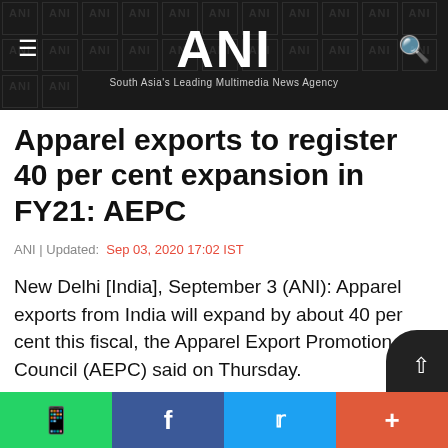ANI — South Asia's Leading Multimedia News Agency
Apparel exports to register 40 per cent expansion in FY21: AEPC
ANI | Updated: Sep 03, 2020 17:02 IST
New Delhi [India], September 3 (ANI): Apparel exports from India will expand by about 40 per cent this fiscal, the Apparel Export Promotion Council (AEPC) said on Thursday.
"We are working with a target to achie...